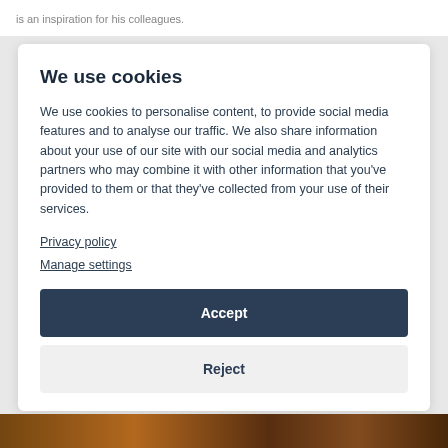is an inspiration for his colleagues.
We use cookies
We use cookies to personalise content, to provide social media features and to analyse our traffic. We also share information about your use of our site with our social media and analytics partners who may combine it with other information that you've provided to them or that they've collected from your use of their services.
Privacy policy
Manage settings
Accept
Reject
[Figure (photo): Bottom strip showing part of a photo with warm orange and brown tones]